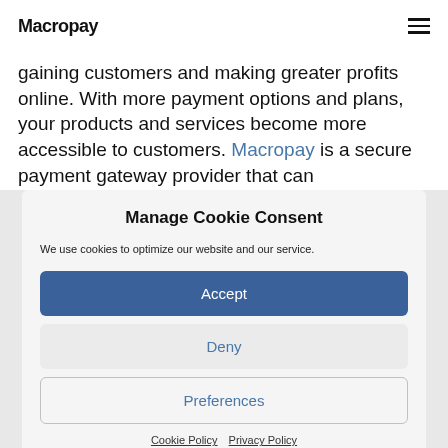Macropay
gaining customers and making greater profits online. With more payment options and plans, your products and services become more accessible to customers. Macropay is a secure payment gateway provider that can
Manage Cookie Consent
We use cookies to optimize our website and our service.
Accept
Deny
Preferences
Cookie Policy  Privacy Policy